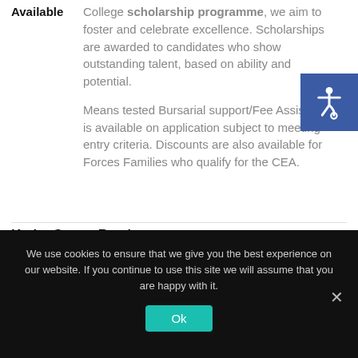Bursaries Available Through the Bishop's Stortford College scholarship programme, we aim to foster and celebrate excellence. Scholarships are awarded to candidates who show outstanding talent, based on ability and potential. Means tested Bursarial support/Fee Assistance is available on application subject to meeting entry criteria. Discounts are also available for Forces Families who qualify for the CEA.
Kathy Crewe-Read
We use cookies to ensure that we give you the best experience on our website. If you continue to use this site we will assume that you are happy with it.